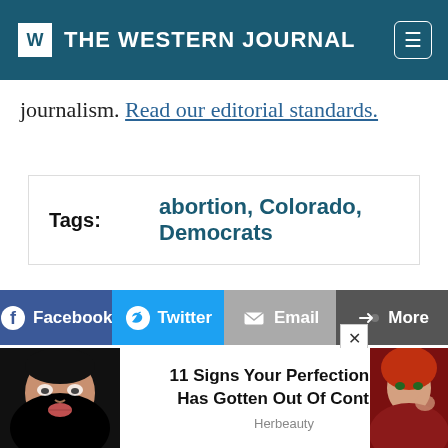W | THE WESTERN JOURNAL
journalism. Read our editorial standards.
Tags: abortion, Colorado, Democrats
[Figure (infographic): Social share buttons: Facebook (blue), Twitter (light blue), Email (gray), More (dark gray)]
David Harsanyi
Summary  Recent  Contact
[Figure (photo): Advertisement overlay: woman making funny face on left, woman in red on right. Center text: 11 Signs Your Perfectionism Has Gotten Out Of Control — Herbeauty]